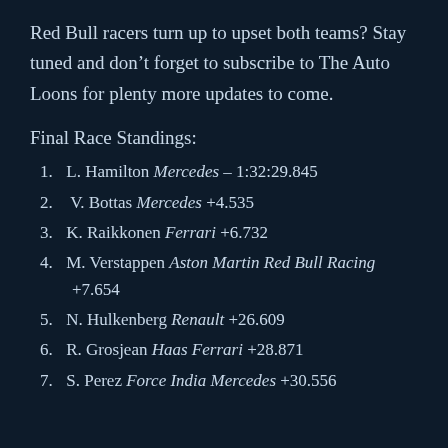Red Bull racers turn up to upset both teams? Stay tuned and don't forget to subscribe to The Auto Loons for plenty more updates to come.
Final Race Standings:
1. L. Hamilton Mercedes – 1:32:29.845
2. V. Bottas Mercedes +4.535
3. K. Raikkonen Ferrari +6.732
4. M. Verstappen Aston Martin Red Bull Racing +7.654
5. N. Hulkenberg Renault +26.609
6. R. Grosjean Haas Ferrari +28.871
7. S. Perez Force India Mercedes +30.556